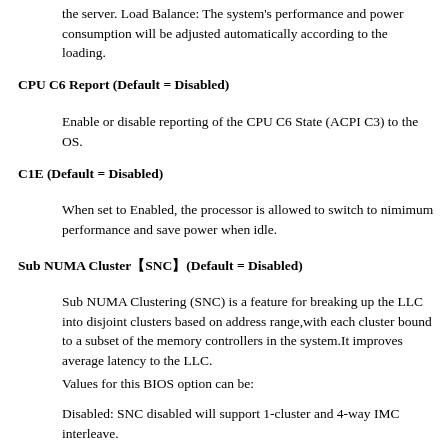the server. Load Balance: The system's performance and power consumption will be adjusted automatically according to the loading.
CPU C6 Report (Default = Disabled)
Enable or disable reporting of the CPU C6 State (ACPI C3) to the OS.
C1E (Default = Disabled)
When set to Enabled, the processor is allowed to switch to nimimum performance and save power when idle.
Sub NUMA Cluster【SNC】(Default = Disabled)
Sub NUMA Clustering (SNC) is a feature for breaking up the LLC into disjoint clusters based on address range,with each cluster bound to a subset of the memory controllers in the system.It improves average latency to the LLC.
Values for this BIOS option can be:
Disabled: SNC disabled will support 1-cluster and 4-way IMC interleave.